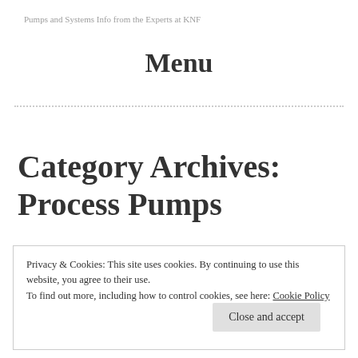Pumps and Systems Info from the Experts at KNF
Menu
Category Archives: Process Pumps
Privacy & Cookies: This site uses cookies. By continuing to use this website, you agree to their use.
To find out more, including how to control cookies, see here: Cookie Policy